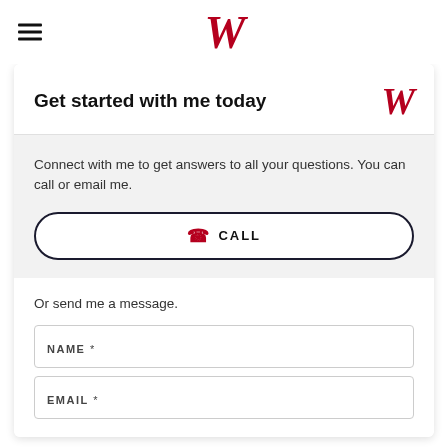W
Get started with me today
Connect with me to get answers to all your questions. You can call or email me.
CALL
Or send me a message.
NAME *
EMAIL *